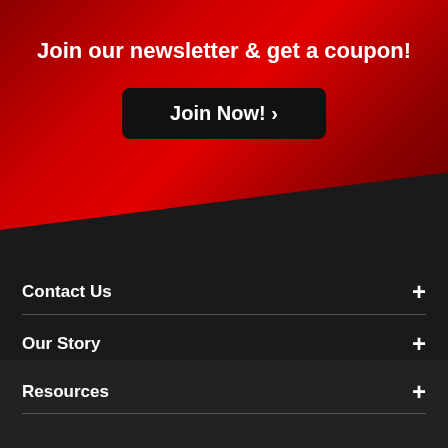Join our newsletter & get a coupon!
Join Now! >
Contact Us
Our Story
Help & Orders
Resources
Show Navigation
Shop All Collections